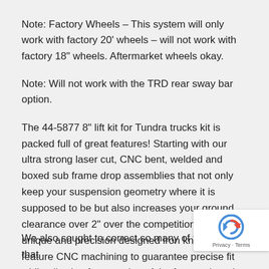Note: Factory Wheels – This system will only work with factory 20' wheels – will not work with factory 18" wheels. Aftermarket wheels okay.
Note: Will not work with the TRD rear sway bar option.
The 44-5877 8" lift kit for Tundra trucks kit is packed full of great features! Starting with our ultra strong laser cut, CNC bent, welded and boxed sub frame drop assemblies that not only keep your suspension geometry where it is supposed to be but also increases your ground clearance over 2" over the competition! Our unique and precision designed iron knuckles feature CNC machining to guarantee precise fit while allowing for retention of the factory tie rods (minor trimming required).
We also sought to correct so many of the issues that